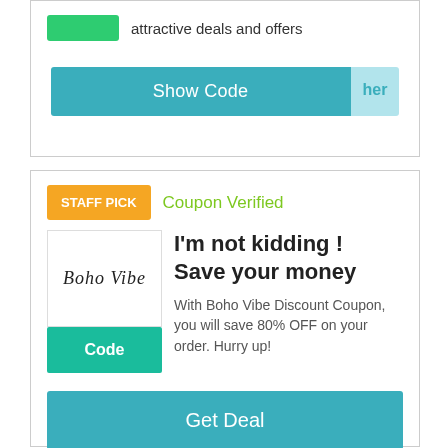attractive deals and offers
Show Code | her
STAFF PICK
Coupon Verified
[Figure (logo): Boho Vibe logo in script/cursive font]
Code
I'm not kidding ! Save your money
With Boho Vibe Discount Coupon, you will save 80% OFF on your order. Hurry up!
Get Deal